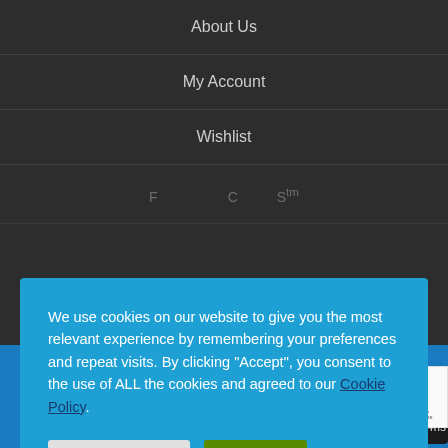About Us
My Account
Wishlist
We use cookies on our website to give you the most relevant experience by remembering your preferences and repeat visits. By clicking “Accept”, you consent to the use of ALL the cookies and agreed to our Cookie Policy.
Cookie Settings | Accept
[Figure (screenshot): Website footer with store icon, WhatsApp button, offline message bar, and reCAPTCHA badge on blue background]